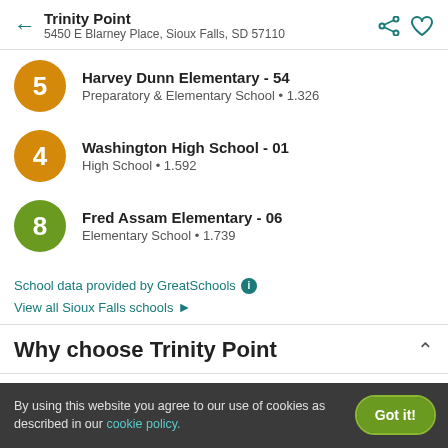Trinity Point
5450 E Blarney Place, Sioux Falls, SD 57110
5 - Harvey Dunn Elementary - 54
Preparatory & Elementary School • 1.326
4 - Washington High School - 01
High School • 1.592
8 - Fred Assam Elementary - 06
Elementary School • 1.739
School data provided by GreatSchools ℹ
View all Sioux Falls schools ›
Why choose Trinity Point
By using this website you agree to our use of cookies as described in our cookie policy.